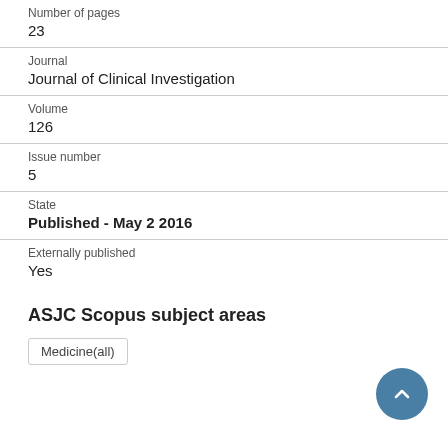Number of pages
23
Journal
Journal of Clinical Investigation
Volume
126
Issue number
5
State
Published - May 2 2016
Externally published
Yes
ASJC Scopus subject areas
Medicine(all)